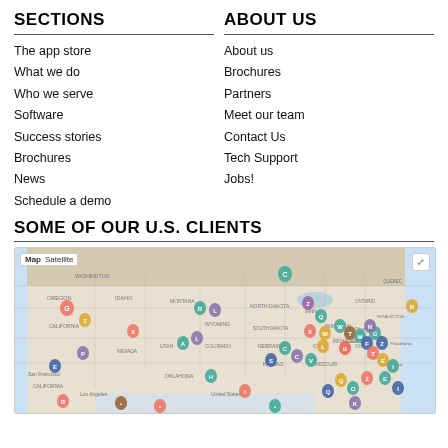SECTIONS
The app store
What we do
Who we serve
Software
Success stories
Brochures
News
Schedule a demo
ABOUT US
About us
Brochures
Partners
Meet our team
Contact Us
Tech Support
Jobs!
SOME OF OUR U.S. CLIENTS
[Figure (map): Google Map showing US client locations marked with colorful lettered pins across the United States]